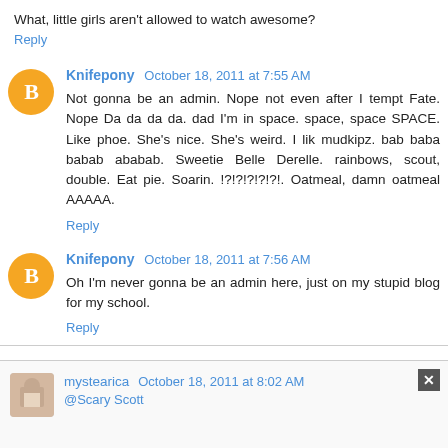What, little girls aren't allowed to watch awesome?
Reply
Knifepony October 18, 2011 at 7:55 AM
Not gonna be an admin. Nope not even after I tempt Fate. Nope Da da da da. dad I'm in space. space, space SPACE. Like phoe. She's nice. She's weird. I lik mudkipz. bab baba babab ababab. Sweetie Belle Derelle. rainbows, scout, double. Eat pie. Soarin. !?!?!?!?!?!. Oatmeal, damn oatmeal AAAAA.
Reply
Knifepony October 18, 2011 at 7:56 AM
Oh I'm never gonna be an admin here, just on my stupid blog for my school.
Reply
mystearica October 18, 2011 at 8:02 AM
@Scary Scott